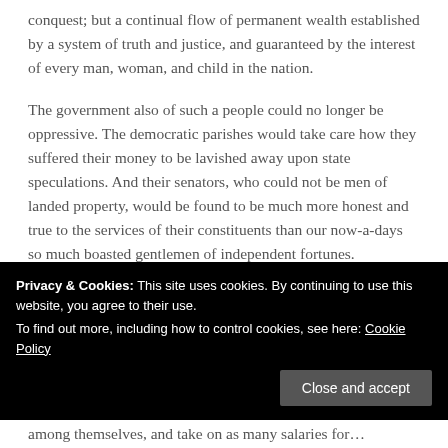conquest; but a continual flow of permanent wealth established by a system of truth and justice, and guaranteed by the interest of every man, woman, and child in the nation.
The government also of such a people could no longer be oppressive. The democratic parishes would take care how they suffered their money to be lavished away upon state speculations. And their senators, who could not be men of landed property, would be found to be much more honest and true to the services of their constituents than our now-a-days so much boasted gentlemen of independent fortunes.
Privacy & Cookies: This site uses cookies. By continuing to use this website, you agree to their use.
To find out more, including how to control cookies, see here: Cookie Policy
among themselves, and take on as many salaries for…